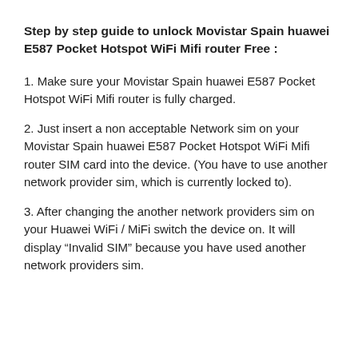Step by step guide to unlock Movistar Spain huawei E587 Pocket Hotspot WiFi Mifi router Free :
1. Make sure your Movistar Spain huawei E587 Pocket Hotspot WiFi Mifi router is fully charged.
2. Just insert a non acceptable Network sim on your Movistar Spain huawei E587 Pocket Hotspot WiFi Mifi router SIM card into the device. (You have to use another network provider sim, which is currently locked to).
3. After changing the another network providers sim on your Huawei WiFi / MiFi switch the device on. It will display “Invalid SIM” because you have used another network providers sim.